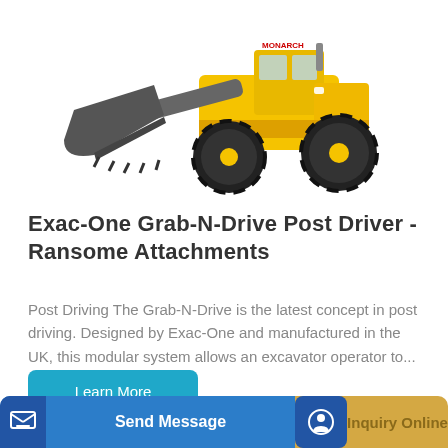[Figure (photo): Yellow and black wheel loader / front-end loader with large bucket, on white background]
Exac-One Grab-N-Drive Post Driver - Ransome Attachments
Post Driving The Grab-N-Drive is the latest concept in post driving. Designed by Exac-One and manufactured in the UK, this modular system allows an excavator operator to...
Learn More
Send Message
Inquiry Online